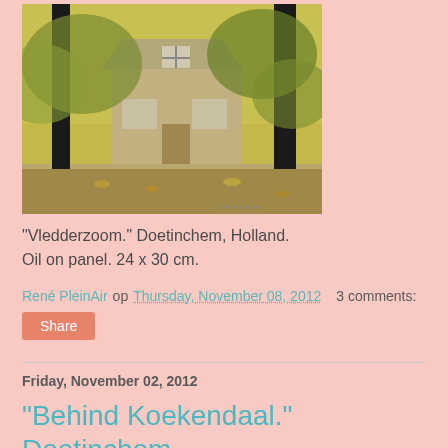[Figure (photo): Oil painting of a house/cottage surrounded by yellow-green autumn foliage and dark tree trunks in foreground, plein air style]
"Vledderzoom." Doetinchem, Holland. Oil on panel. 24 x 30 cm.
René PleinAir op Thursday, November 08, 2012   3 comments:
Share
Friday, November 02, 2012
"Behind Koekendaal." Doetinchem, Holland.